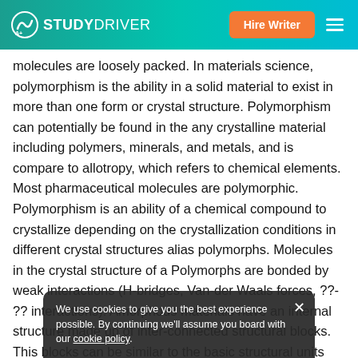STUDYDRIVER | Hire Writer
molecules are loosely packed. In materials science, polymorphism is the ability in a solid material to exist in more than one form or crystal structure. Polymorphism can potentially be found in the any crystalline material including polymers, minerals, and metals, and is compare to allotropy, which refers to chemical elements. Most pharmaceutical molecules are polymorphic. Polymorphism is an ability of a chemical compound to crystallize depending on the crystallization conditions in different crystal structures alias polymorphs. Molecules in the crystal structure of a Polymorphs are bonded by weak interactions (H-bridges, Van-der Waals forces, ??- ?? interactions). Amorphous materials have an internal structure made up of inter-connected structural blocks. This blocks can be similar to the basic structural units found in the corresponding crystalline phase of the compound. Whether a material is liquid or solid depends